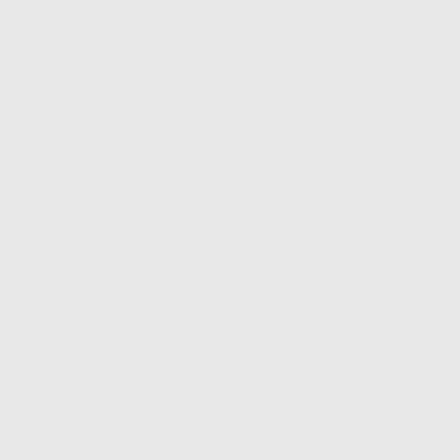PRZEPŁYWY MIĘD...
PRZESĄD
PRZESIEDLENIEC...
PRZESTAWKA (ME...
PRZESTRZEŃ
PRZESTRZEŃ MEN...
PRZESTRZEŃ MIĘ...
PRZESTRZEŃ PUB...
PRZESZŁOŚĆ
PRZEWOŹNIK DRO...
PRZEŻYCIE ESTET...
PRZEŻYTKI
PRZYSWAJANIE PR...
PRZYŚPIEWKA
PSEUDOINFORMA...
PSYCHOANALIZA ...
PSYCHOKULTURAL...
PSYCHOTECHNIKA...
PUBLICYSTYKA
PUBLICZNOŚĆ
PUNCTUM
PUNKT...